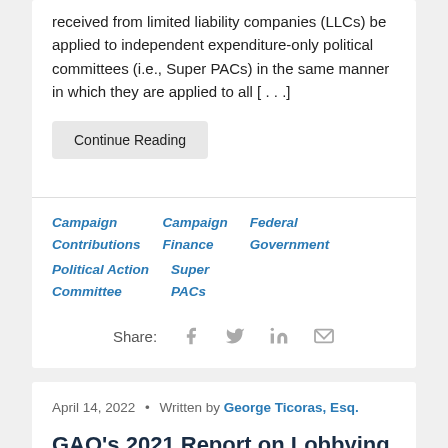received from limited liability companies (LLCs) be applied to independent expenditure-only political committees (i.e., Super PACs) in the same manner in which they are applied to all [...]
Continue Reading
Campaign Contributions
Campaign Finance
Federal Government
Political Action Committee
Super PACs
Share:
April 14, 2022  •  Written by George Ticoras, Esq.
GAO's 2021 Report on Lobbying